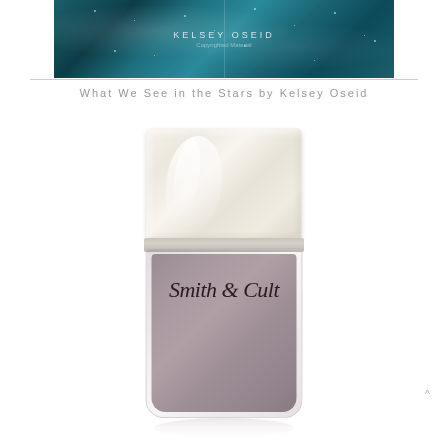[Figure (photo): Book cover of 'What We See in the Stars' by Kelsey Oseid — dark teal/blue astronomical illustration with text overlay and 'Copyrighted Material' watermark]
What We See in the Stars by Kelsey Oseid
[Figure (photo): Smith & Cult nail polish bottle with cream/ivory rounded cap and a glass bottle containing dusty mauve-gray polish, with cursive 'Smith & Cult' label on the bottle]
^